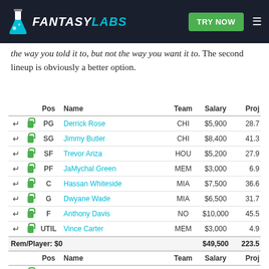FANTASY LABS | TRY NOW
the way you told it to, but not the way you want it to. The second lineup is obviously a better option.
|  |  | Pos | Name | Team | Salary | Proj |
| --- | --- | --- | --- | --- | --- | --- |
| ← | 🔒 | PG | Derrick Rose | CHI | $5,900 | 28.7 |
| ← | 🔒 | SG | Jimmy Butler | CHI | $8,400 | 41.3 |
| ← | 🔒 | SF | Trevor Ariza | HOU | $5,200 | 27.9 |
| ← | 🔒 | PF | JaMychal Green | MEM | $3,000 | 6.9 |
| ← | 🔒 | C | Hassan Whiteside | MIA | $7,500 | 36.6 |
| ← | 🔒 | G | Dwyane Wade | MIA | $6,500 | 31.7 |
| ← | 🔒 | F | Anthony Davis | NO | $10,000 | 45.5 |
| ← | 🔒 | UTIL | Vince Carter | MEM | $3,000 | 4.9 |
| Rem/Player: $0 |  |  |  |  | $49,500 | 223.5 |
|  |  | Pos | Name | Team | Salary | Proj |
| ← | 🔒 | PG | Patrick Beverley | HOU | $4,000 | 20.9 |
| ← | 🔒 | SG | Jimmy Butler | CHI | $8,400 | 41.3 |